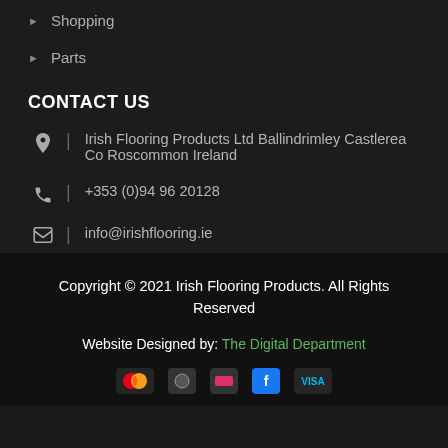Shopping
Parts
CONTACT US
Irish Flooring Products Ltd Ballindrimley Castlerea Co Roscommon Ireland
+353 (0)94 96 20128
info@irishflooring.ie
Copyright © 2021 Irish Flooring Products. All Rights Reserved
Website Designed by: The Digital Department